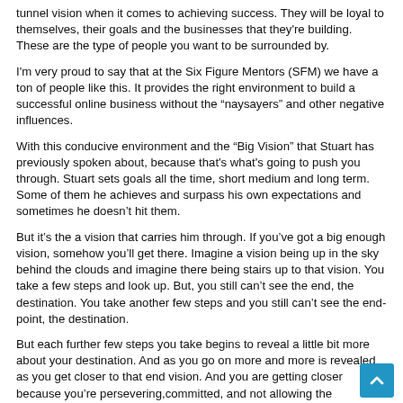tunnel vision when it comes to achieving success. They will be loyal to themselves, their goals and the businesses that they're building. These are the type of people you want to be surrounded by.
I'm very proud to say that at the Six Figure Mentors (SFM) we have a ton of people like this. It provides the right environment to build a successful online business without the “naysayers” and other negative influences.
With this conducive environment and the “Big Vision” that Stuart has previously spoken about, because that's what's going to push you through. Stuart sets goals all the time, short medium and long term. Some of them he achieves and surpass his own expectations and sometimes he doesn’t hit them.
But it’s the a vision that carries him through. If you’ve got a big enough vision, somehow you’ll get there. Imagine a vision being up in the sky behind the clouds and imagine there being stairs up to that vision. You take a few steps and look up. But, you still can’t see the end, the destination. You take another few steps and you still can’t see the end-point, the destination.
But each further few steps you take begins to reveal a little bit more about your destination. And as you go on more and more is revealed as you get closer to that end vision. And you are getting closer because you’re persevering,committed, and not allowing the “naysayers” to distract you and take you back down the stairs to the beginning. Or even worse, get the elevator back down with them to the ground floor where they are all sat in an office and giving pretty